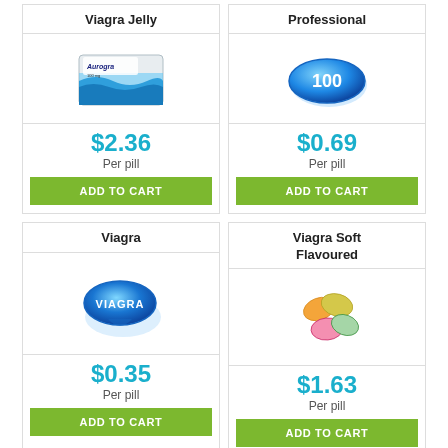Viagra Jelly
[Figure (photo): Aurogra blister pack product image]
$2.36 Per pill
ADD TO CART
Professional
[Figure (photo): Blue oval pill with '100' text]
$0.69 Per pill
ADD TO CART
Viagra
[Figure (photo): Blue teardrop Viagra pill with 'VIAGRA' text]
$0.35 Per pill
ADD TO CART
Viagra Soft Flavoured
[Figure (photo): Colorful soft chewable pills, orange, yellow, pink]
$1.63 Per pill
ADD TO CART